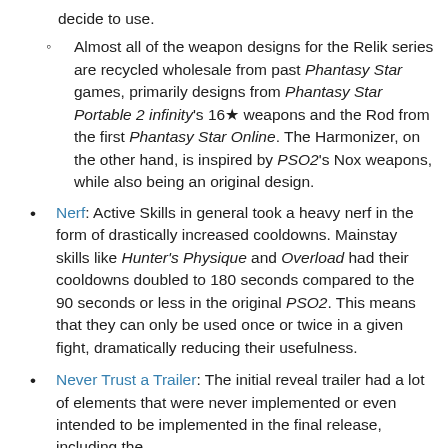decide to use.
Almost all of the weapon designs for the Relik series are recycled wholesale from past Phantasy Star games, primarily designs from Phantasy Star Portable 2 infinity's 16★ weapons and the Rod from the first Phantasy Star Online. The Harmonizer, on the other hand, is inspired by PSO2's Nox weapons, while also being an original design.
Nerf: Active Skills in general took a heavy nerf in the form of drastically increased cooldowns. Mainstay skills like Hunter's Physique and Overload had their cooldowns doubled to 180 seconds compared to the 90 seconds or less in the original PSO2. This means that they can only be used once or twice in a given fight, dramatically reducing their usefulness.
Never Trust a Trailer: The initial reveal trailer had a lot of elements that were never implemented or even intended to be implemented in the final release, including the